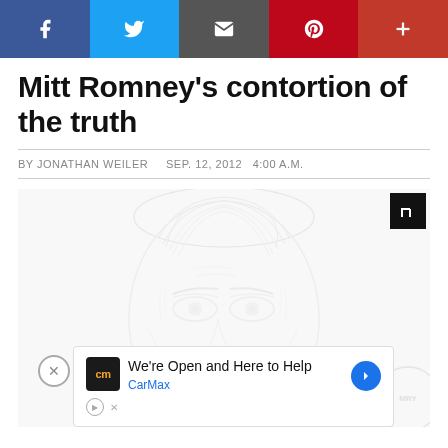[Figure (other): Social media share bar with Facebook (blue), Twitter (light blue), Email/envelope (dark gray), Pinterest (red), and plus button (crimson red)]
Mitt Romney's contortion of the truth
BY JONATHAN WEILER   SEP. 12, 2012  4:00 A.M.
[Figure (illustration): Pencil sketch illustration of Mitt Romney's face in light gray tones, showing forehead, hair, and eyes. An advertisement overlay for CarMax reads 'We're Open and Here to Help' with a close (x) button.]